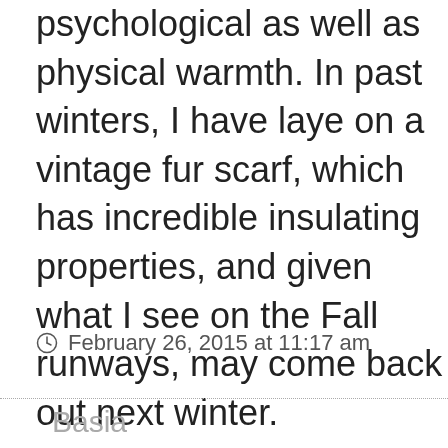psychological as well as physical warmth. In past winters, I have layed on a vintage fur scarf, which has incredible insulating properties, and given what I see on the Fall runways, may come back out next winter.
February 26, 2015 at 11:17 am
Basia